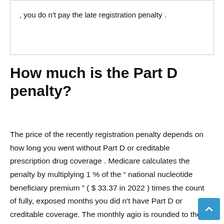, you do n't pay the late registration penalty .
How much is the Part D penalty?
The price of the recently registration penalty depends on how long you went without Part D or creditable prescription drug coverage . Medicare calculates the penalty by multiplying 1 % of the “ national nucleotide beneficiary premium ” ( $ 33.37 in 2022 ) times the count of fully, exposed months you did n't have Part D or creditable coverage. The monthly agio is rounded to the nearest $ .10 and added to your monthly Part D